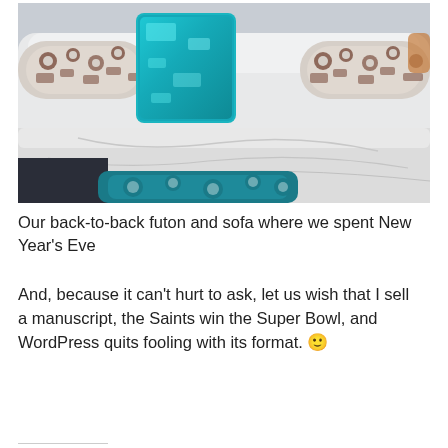[Figure (photo): A couch or futon with white cushions, patterned bolster pillows with brown and white designs, a teal/turquoise sequined throw pillow, and a partial view of a teal patterned cushion in the lower foreground.]
Our back-to-back futon and sofa where we spent New Year’s Eve
And, because it can’t hurt to ask, let us wish that I sell a manuscript, the Saints win the Super Bowl, and WordPress quits fooling with its format. 🙂